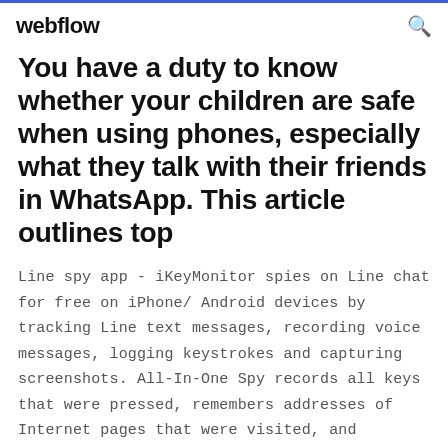webflow
You have a duty to know whether your children are safe when using phones, especially what they talk with their friends in WhatsApp. This article outlines top
Line spy app - iKeyMonitor spies on Line chat for free on iPhone/ Android devices by tracking Line text messages, recording voice messages, logging keystrokes and capturing screenshots. All-In-One Spy records all keys that were pressed, remembers addresses of Internet pages that were visited, and maintains log file for applications that were run on the computer.